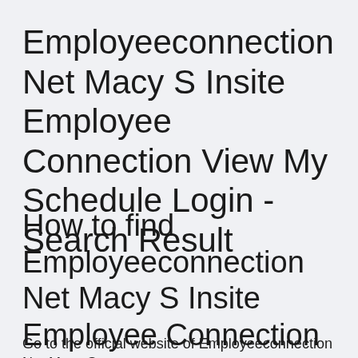Employeeconnection Net Macy S Insite Employee Connection View My Schedule Login - Search Result
How to find Employeeconnection Net Macy S Insite Employee Connection View My Schedule Login?
Go to the official website of Employeeconnection Net Macy S